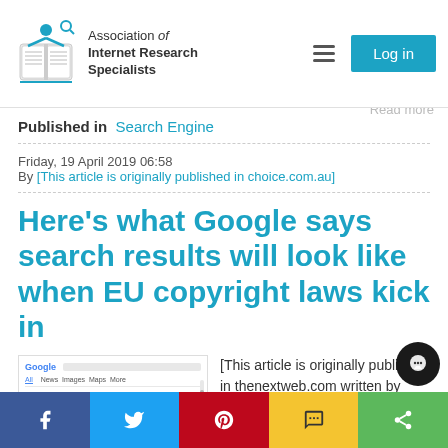Association of Internet Research Specialists
Published in Search Engine
Friday, 19 April 2019 06:58
By [This article is originally published in choice.com.au]
Here’s what Google says search results will look like when EU copyright laws kick in
[Figure (screenshot): Screenshot of Google search results page showing Top Stories cards]
[This article is originally published in thenextweb.com written by Abhimanyu Ghoshal - Uploaded by AIRS Member:
Facebook share, Twitter share, Pinterest share, SMS share, More share